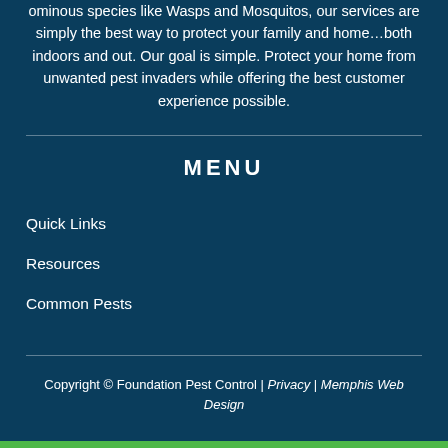ominous species like Wasps and Mosquitos, our services are simply the best way to protect your family and home…both indoors and out. Our goal is simple. Protect your home from unwanted pest invaders while offering the best customer experience possible.
MENU
Quick Links
Resources
Common Pests
Copyright © Foundation Pest Control | Privacy | Memphis Web Design